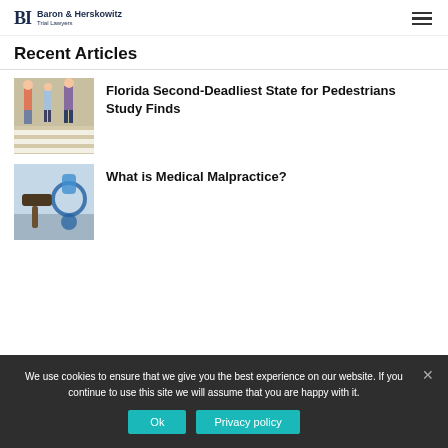Baron & Herskowitz Trial Lawyers
Recent Articles
[Figure (photo): People walking on a crosswalk, pedestrian scene]
Florida Second-Deadliest State for Pedestrians Study Finds
[Figure (photo): Medical malpractice themed image with a gavel and stethoscope]
What is Medical Malpractice?
We use cookies to ensure that we give you the best experience on our website. If you continue to use this site we will assume that you are happy with it.
Ok
Privacy policy